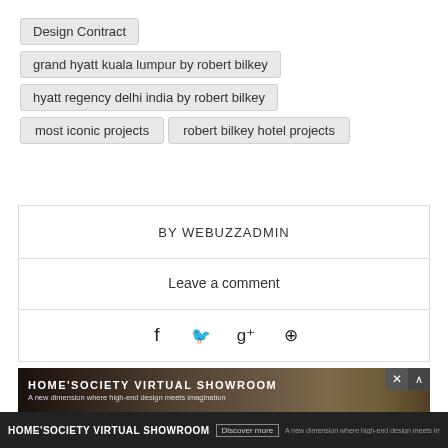Design Contract
grand hyatt kuala lumpur by robert bilkey
hyatt regency delhi india by robert bilkey
most iconic projects
robert bilkey hotel projects
BY WEBUZZADMIN
Leave a comment
[Figure (screenshot): Social media share icons: Facebook, Twitter, Google+, Pinterest]
[Figure (photo): HOME'SOCIETY VIRTUAL SHOWROOM banner image showing luxury interior spaces with text overlay: 'A new dimension where high-end design meets imagination']
HOME'SOCIETY VIRTUAL SHOWROOM - A new dimension where high-end design meets imagination BRABBU- RUGSOCIETY & MAISON VALENTINA exhibition